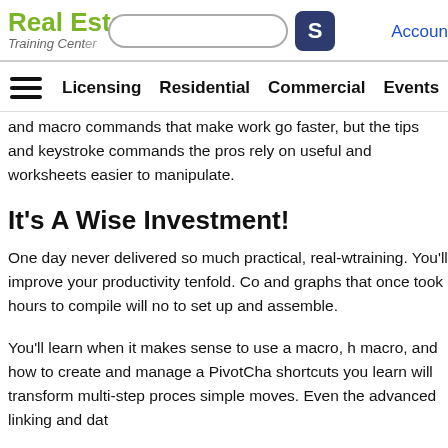Real Estate Training Center
Account
Licensing  Residential  Commercial  Events
and macro commands that make work go faster, but the tips and keystroke commands the pros rely on useful and worksheets easier to manipulate.
It's A Wise Investment!
One day never delivered so much practical, real-w training. You'll improve your productivity tenfold. Co and graphs that once took hours to compile will no to set up and assemble.
You'll learn when it makes sense to use a macro, h macro, and how to create and manage a PivotCha shortcuts you learn will transform multi-step proces simple moves. Even the advanced linking and dat